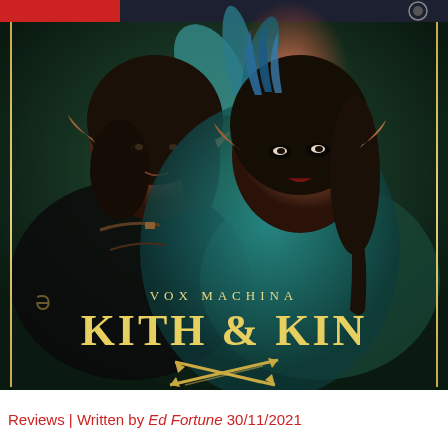[Figure (illustration): Book cover illustration for 'Vox Machina: Kith & Kin'. Two fantasy characters with pointed elf ears stand back to back. The male character on the left has dark hair and wears leather armor with fur accents. The female character on the right has dark braided hair, heavy eye makeup, and wears a teal fur-trimmed cloak with feather accessories. A pink/orange glow appears in the upper background. The cover has gold border lines on the sides and features the title 'VOX MACHINA' in small gold letters above the large text 'KITH & KIN'. Crossed arrows appear at the bottom of the image. The overall color palette is dark green and teal with gold accents.]
Reviews | Written by Ed Fortune 30/11/2021